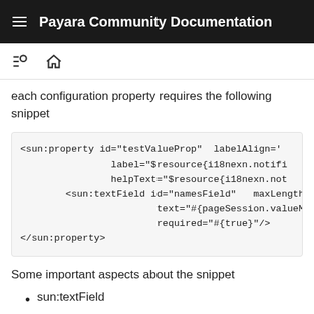Payara Community Documentation
each configuration property requires the following snippet
[Figure (screenshot): Code snippet showing XML-like sun:property element with sun:textField child element]
Some important aspects about the snippet
sun:textField